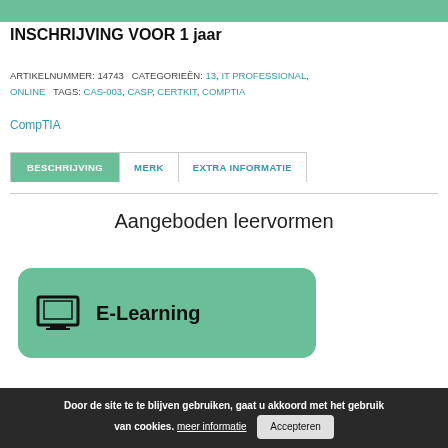INSCHRIJVING VOOR 1 jaar
ARTIKELNUMMER: 14743   CATEGORIEËN: 13, IT PROFESSIONAL, ONLINE   TAGS: CAS-003, CASP, CERTKIT, COMPTIA
CompTIA
BESCHRIJVING | MERK | EXTRA INFORMATIE
Aangeboden leervormen
[Figure (infographic): E-Learning card with green rounded rectangle background, laptop icon on left, bold text 'E-Learning' on right]
Door de site te te blijven gebruiken, gaat u akkoord met het gebruik van cookies. meer informatie  Accepteren